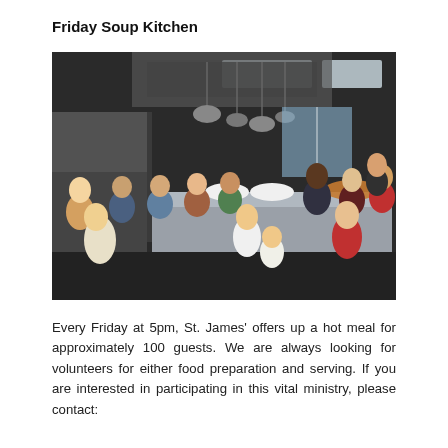Friday Soup Kitchen
[Figure (photo): A group photo of approximately 20 volunteers, including adults and children of diverse backgrounds, posing in a commercial kitchen. They stand around a stainless steel prep station with pots hanging from the ceiling and food being prepared.]
Every Friday at 5pm, St. James' offers up a hot meal for approximately 100 guests. We are always looking for volunteers for either food preparation and serving. If you are interested in participating in this vital ministry, please contact: